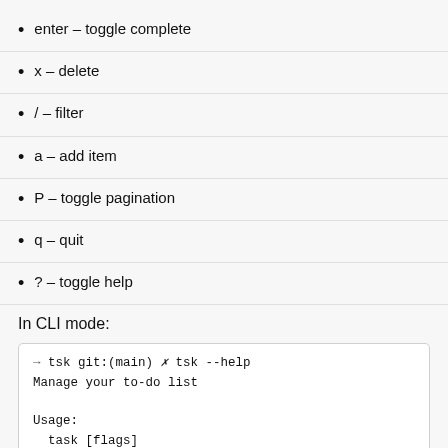enter – toggle complete
x – delete
/ – filter
a – add item
P – toggle pagination
q – quit
? – toggle help
In CLI mode:
→  tsk git:(main) ✗ tsk --help
Manage your to-do list

Usage:
  task [flags]
  task [command]